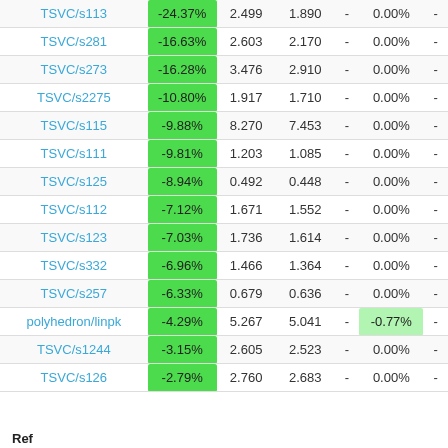|  |  |  |  |  |  |  |
| --- | --- | --- | --- | --- | --- | --- |
| TSVC/s113 | -24.37% | 2.499 | 1.890 | - | 0.00% | - |
| TSVC/s281 | -16.63% | 2.603 | 2.170 | - | 0.00% | - |
| TSVC/s273 | -16.28% | 3.476 | 2.910 | - | 0.00% | - |
| TSVC/s2275 | -10.80% | 1.917 | 1.710 | - | 0.00% | - |
| TSVC/s115 | -9.88% | 8.270 | 7.453 | - | 0.00% | - |
| TSVC/s111 | -9.81% | 1.203 | 1.085 | - | 0.00% | - |
| TSVC/s125 | -8.94% | 0.492 | 0.448 | - | 0.00% | - |
| TSVC/s112 | -7.12% | 1.671 | 1.552 | - | 0.00% | - |
| TSVC/s123 | -7.03% | 1.736 | 1.614 | - | 0.00% | - |
| TSVC/s332 | -6.96% | 1.466 | 1.364 | - | 0.00% | - |
| TSVC/s257 | -6.33% | 0.679 | 0.636 | - | 0.00% | - |
| polyhedron/linpk | -4.29% | 5.267 | 5.041 | - | -0.77% | - |
| TSVC/s1244 | -3.15% | 2.605 | 2.523 | - | 0.00% | - |
| TSVC/s126 | -2.79% | 2.760 | 2.683 | - | 0.00% | - |
Ref